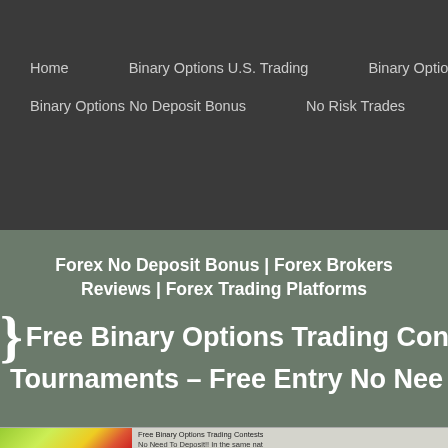Home   Binary Options U.S. Trading   Binary Options Low Minim...   Binary Options No Deposit Bonus   No Risk Trades   Trading Blo...
Forex No Deposit Bonus | Forex Brokers Reviews | Forex Trading Platforms
} Free Binary Options Trading Conte... Tournaments – Free Entry No Nee...
[Figure (photo): Colorful image showing red cubes/blocks over a green net-like background, thumbnail for article about Free Binary Options Trading Contests]
Free Binary Options Trading Contests No Need To Deposit!! In the same nat...